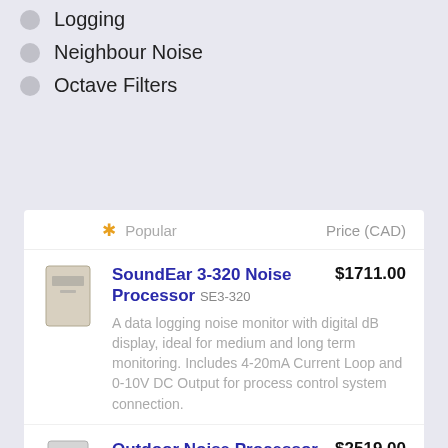Logging
Neighbour Noise
Octave Filters
|  | * Popular | Price (CAD) |
| --- | --- | --- |
| [SoundEar 3-320 image] | SoundEar 3-320 Noise Processor SE3-320
A data logging noise monitor with digital dB display, ideal for medium and long term monitoring. Includes 4-20mA Current Loop and 0-10V DC Output for process control system connection. | $1711.00 |
| [Outdoor Noise Processor image] | Outdoor Noise Processor SE3-320W
A weatherproof data logging noise monitor for outdoor noise monitoring. Includes 4-20mA Current Loop and 0-10V | $2519.00 |